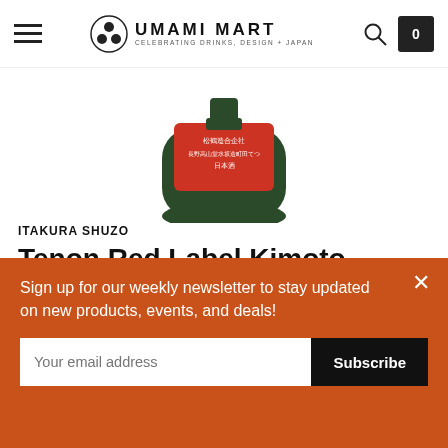UMAMI MART — CELEBRATING DRINKS, DESIGN + JAPAN
[Figure (photo): Top portion of a round squat sake bottle with a red label featuring Japanese characters, dark green glass body visible at bottom]
ITAKURA SHUZO
Tenon Red Label Kimoto Junmai Muroka Nama Genshu Sake (BTL 24 oz)
$45.00
Out of stock
Sign up for our weekly newsletter to stay updated on new products, events, and deals!